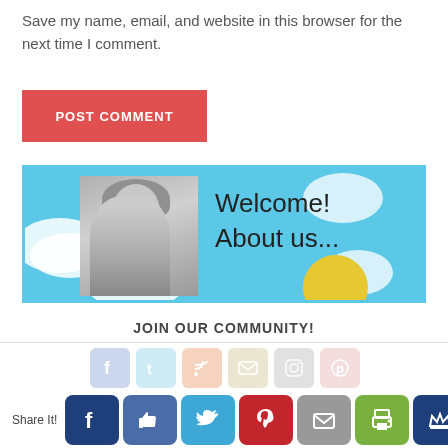Save my name, email, and website in this browser for the next time I comment.
POST COMMENT
[Figure (illustration): Welcome About us banner with woman photo, sky blue background, clouds, and handwritten text saying Welcome! About us...]
JOIN OUR COMMUNITY!
Share It!
[Figure (infographic): Social media share buttons row: Facebook, Like, Twitter, Pinterest, Email, Print, Crown]